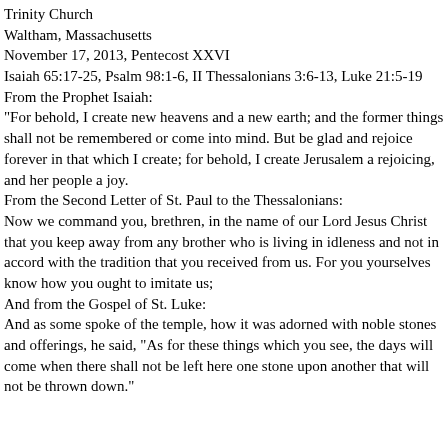Trinity Church
Waltham, Massachusetts
November 17, 2013, Pentecost XXVI
Isaiah 65:17-25, Psalm 98:1-6, II Thessalonians 3:6-13, Luke 21:5-19
From the Prophet Isaiah:
“For behold, I create new heavens and a new earth; and the former things shall not be remembered or come into mind. But be glad and rejoice forever in that which I create; for behold, I create Jerusalem a rejoicing, and her people a joy.
From the Second Letter of St. Paul to the Thessalonians:
Now we command you, brethren, in the name of our Lord Jesus Christ that you keep away from any brother who is living in idleness and not in accord with the tradition that you received from us. For you yourselves know how you ought to imitate us;
And from the Gospel of St. Luke:
And as some spoke of the temple, how it was adorned with noble stones and offerings, he said, “As for these things which you see, the days will come when there shall not be left here one stone upon another that will not be thrown down.”